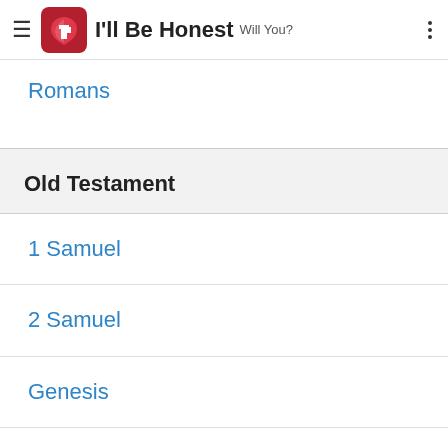I'll Be Honest Will You?
Romans
Old Testament
1 Samuel
2 Samuel
Genesis
Jeremiah